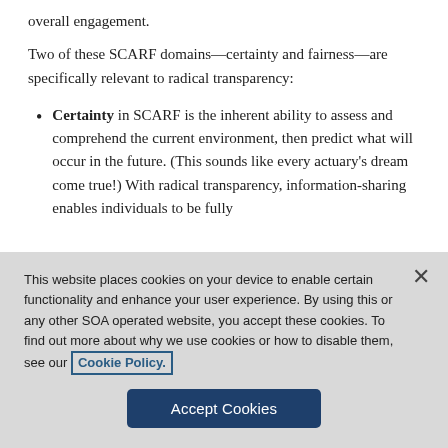overall engagement.
Two of these SCARF domains—certainty and fairness—are specifically relevant to radical transparency:
Certainty in SCARF is the inherent ability to assess and comprehend the current environment, then predict what will occur in the future. (This sounds like every actuary's dream come true!) With radical transparency, information-sharing enables individuals to be fully
This website places cookies on your device to enable certain functionality and enhance your user experience. By using this or any other SOA operated website, you accept these cookies. To find out more about why we use cookies or how to disable them, see our Cookie Policy.
Accept Cookies